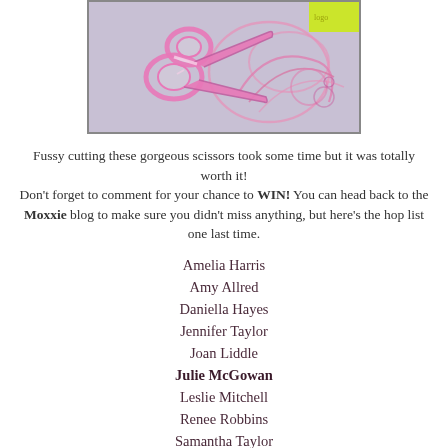[Figure (photo): Photo of pink glittery scissors lying on a decorative surface with pink swirling floral patterns]
Fussy cutting these gorgeous scissors took some time but it was totally worth it!
Don't forget to comment for your chance to WIN! You can head back to the Moxxie blog to make sure you didn't miss anything, but here's the hop list one last time.
Amelia Harris
Amy Allred
Daniella Hayes
Jennifer Taylor
Joan Liddle
Julie McGowan
Leslie Mitchell
Renee Robbins
Samantha Taylor